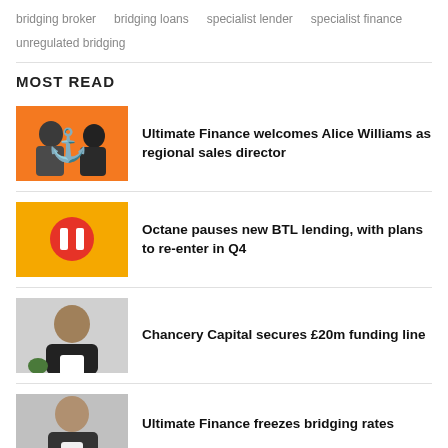bridging broker
bridging loans
specialist lender
specialist finance
unregulated bridging
MOST READ
Ultimate Finance welcomes Alice Williams as regional sales director
Octane pauses new BTL lending, with plans to re-enter in Q4
Chancery Capital secures £20m funding line
Ultimate Finance freezes bridging rates